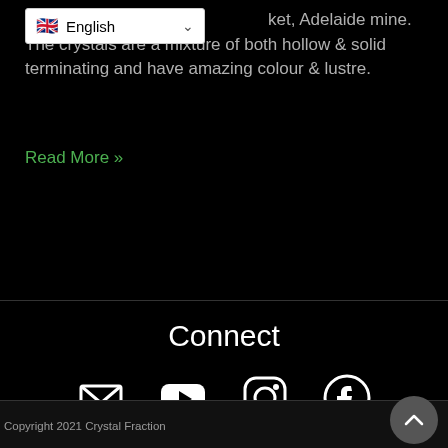Croc... ket, Adelaide mine. The crystals are a mixture of both hollow & solid terminating and have amazing colour & lustre.
Read More »
Connect
[Figure (infographic): Social media icons: email/envelope, YouTube play button, Instagram, Facebook]
Copyright 2021 Crystal Fraction